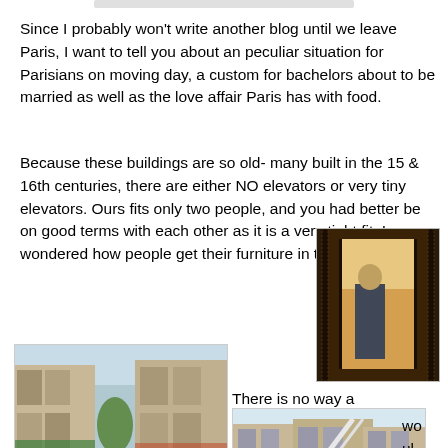Since I probably won't write another blog until we leave Paris, I want to tell you about an peculiar situation for Parisians on moving day, a custom for bachelors about to be married as well as the love affair Paris has with food.
Because these buildings are so old- many built in the 15 & 16th centuries, there are either NO elevators or very tiny elevators. Ours fits only two people, and you had better be on good terms with each other as it is a very tight fit. I wondered how people get their furniture in their homes.
[Figure (photo): Photo of a narrow Parisian elevator with ornate dark metalwork frame, a person visible inside]
[Figure (photo): Photo of a Parisian street with classic Haussmann buildings, cars parked along the road]
There is no way a bed or couch
[Figure (photo): Photo of a Parisian street with a moving truck and ladder/crane visible]
would fit in th